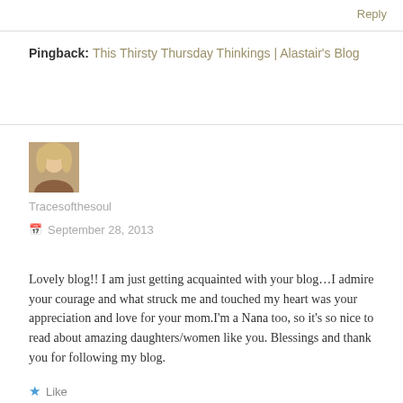Reply
Pingback: This Thirsty Thursday Thinkings | Alastair's Blog
[Figure (photo): Small avatar photo of a woman with light hair]
Tracesofthesoul
September 28, 2013
Lovely blog!! I am just getting acquainted with your blog…I admire your courage and what struck me and touched my heart was your appreciation and love for your mom.I'm a Nana too, so it's so nice to read about amazing daughters/women like you. Blessings and thank you for following my blog.
Like